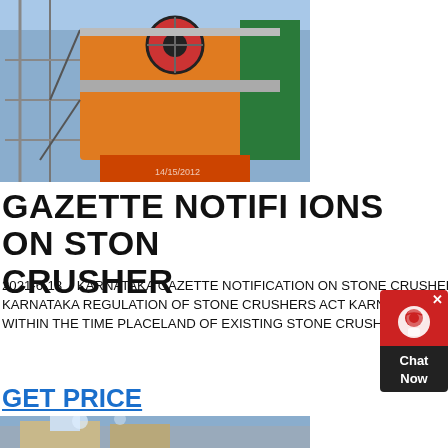[Figure (photo): Industrial stone crusher machinery with orange metal frame and scaffolding against blue sky]
GAZETTE NOTIFICATIONS ON STONE CRUSHER
2021-6-18   KARNATAKA GAZETTE NOTIFICATION ON STONE CRUSHER GD WP TO BROWSE THE CONTENTS OF THE GAZETTE USE ONLY 24 JAN KARNATAKA REGULATION OF STONE CRUSHERS ACT KARNATAKA ACT 08 OF IS AFTER NOTIFICATION OF SAFER ZONE OR REJECT THE APPLICATION WITHIN THE TIME PLACELAND OF EXISTING STONE CRUSHER
GET PRICE
[Figure (photo): Stone crusher equipment outdoors with blue sky background]